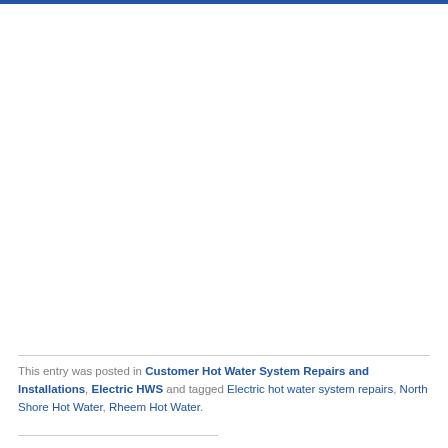This entry was posted in Customer Hot Water System Repairs and Installations, Electric HWS and tagged Electric hot water system repairs, North Shore Hot Water, Rheem Hot Water.